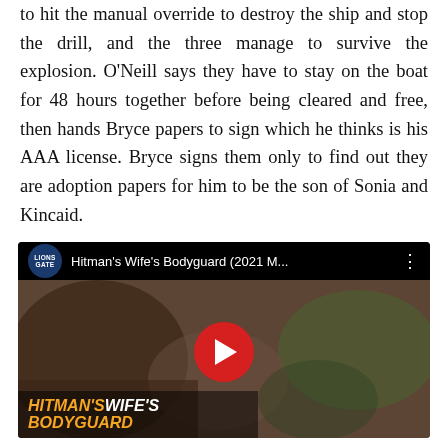to hit the manual override to destroy the ship and stop the drill, and the three manage to survive the explosion. O'Neill says they have to stay on the boat for 48 hours together before being cleared and free, then hands Bryce papers to sign which he thinks is his AAA license. Bryce signs them only to find out they are adoption papers for him to be the son of Sonia and Kincaid.
[Figure (screenshot): YouTube video thumbnail showing 'Hitman's Wife's Bodyguard (2021 M...' by Lionsgate channel, with actors in a car scene, a red YouTube play button overlay, and movie title text 'HITMAN'S WIFE'S BODYGUARD' at the bottom left.]